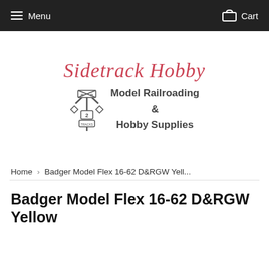Menu  Cart
[Figure (logo): Sidetrack Hobby logo with script text 'Sidetrack Hobby' in red/pink cursive, a railroad crossing sign illustration, and bold text 'Model Railroading & Hobby Supplies']
Home › Badger Model Flex 16-62 D&RGW Yell...
Badger Model Flex 16-62 D&RGW Yellow